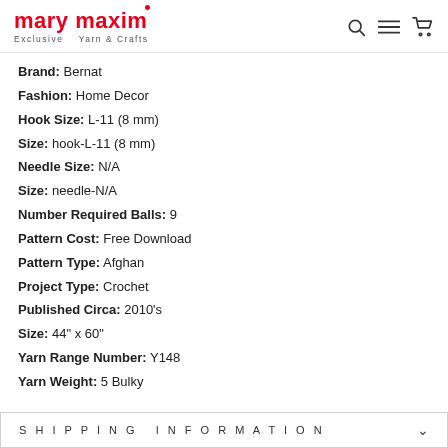mary maxim — Exclusive Yarn & Crafts
Brand: Bernat
Fashion: Home Decor
Hook Size: L-11 (8 mm)
Size: hook-L-11 (8 mm)
Needle Size: N/A
Size: needle-N/A
Number Required Balls: 9
Pattern Cost: Free Download
Pattern Type: Afghan
Project Type: Crochet
Published Circa: 2010's
Size: 44" x 60"
Yarn Range Number: Y148
Yarn Weight: 5 Bulky
SHIPPING INFORMATION